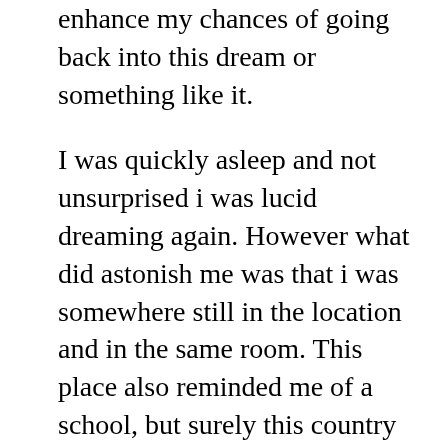enhance my chances of going back into this dream or something like it.
I was quickly asleep and not unsurprised i was lucid dreaming again. However what did astonish me was that i was somewhere still in the location and in the same room. This place also reminded me of a school, but surely this country was in the developing world. With low breezeblock walls and possibly a flat roof – it seemed to be a centre of some sort. I remember lunging into the room – And i was explaining to the people gathered there 'just what the inorganic beings